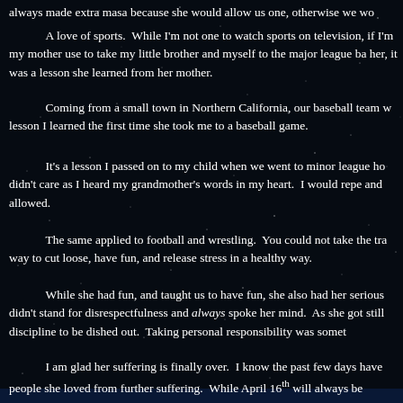always made extra masa because she would allow us one, otherwise we wo
A love of sports. While I'm not one to watch sports on television, if I'm my mother use to take my little brother and myself to the major league ba her, it was a lesson she learned from her mother.
Coming from a small town in Northern California, our baseball team w lesson I learned the first time she took me to a baseball game.
It's a lesson I passed on to my child when we went to minor league ho didn't care as I heard my grandmother's words in my heart. I would repe and allowed.
The same applied to football and wrestling. You could not take the tra way to cut loose, have fun, and release stress in a healthy way.
While she had fun, and taught us to have fun, she also had her serious didn't stand for disrespectfulness and always spoke her mind. As she got still discipline to be dished out. Taking personal responsibility was somet
I am glad her suffering is finally over. I know the past few days have people she loved from further suffering. While April 16th will always be